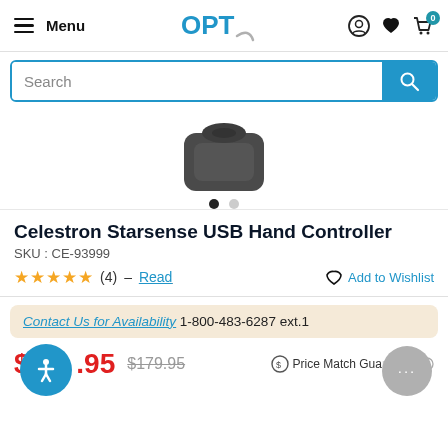Menu | OPT | (icons: account, wishlist, cart 0)
Search
[Figure (photo): Partial top view of Celestron Starsense USB Hand Controller device, dark grey color]
Celestron Starsense USB Hand Controller
SKU : CE-93999
★★★★★ (4) - Read | Add to Wishlist
Contact Us for Availability 1-800-483-6287 ext.1
$1**.95  $179.95  Price Match Guarantee